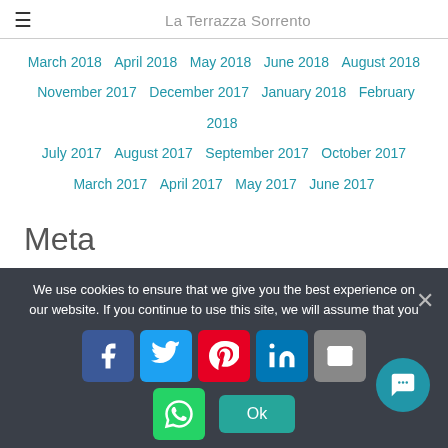La Terrazza Sorrento
March 2018  April 2018  May 2018  June 2018  August 2018  November 2017  December 2017  January 2018  February 2018  July 2017  August 2017  September 2017  October 2017  March 2017  April 2017  May 2017  June 2017
Meta
WordPress.org  Comments feed  Entries feed  Log in
Newsletter
We use cookies to ensure that we give you the best experience on our website. If you continue to use this site, we will assume that you